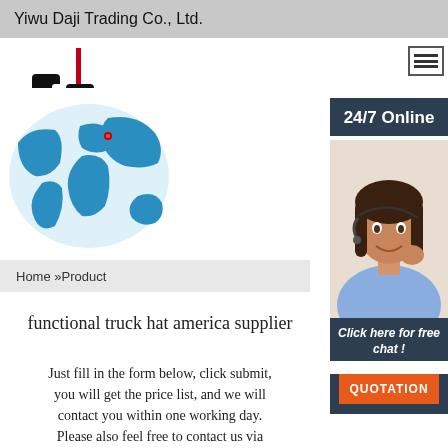Yiwu Daji Trading Co., Ltd.
[Figure (logo): Daji Trading company logo: stylized black letter shapes resembling 'da' with a red vertical accent line]
CONTACT US
[Figure (infographic): 24/7 Online customer service widget with world map background and customer service representative photo, includes 'Click here for free chat!' and orange QUOTATION button]
Home »Product
functional truck hat america supplier
Just fill in the form below, click submit, you will get the price list, and we will contact you within one working day. Please also feel free to contact us via